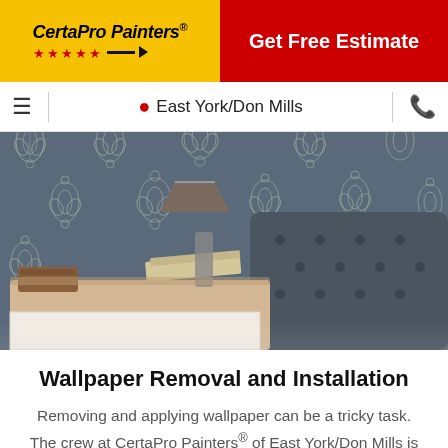[Figure (logo): CertaPro Painters logo on yellow background with red stars and trademark symbol]
Get Free Estimate
East York/Don Mills
[Figure (photo): Bedroom interior with dark grey damask patterned wallpaper, a table lamp, open book and wooden box on a white dresser, and a grey tufted headboard]
Wallpaper Removal and Installation
Removing and applying wallpaper can be a tricky task. The crew at CertaPro Painters® of East York/Don Mills is skilled in removing wallpaper and